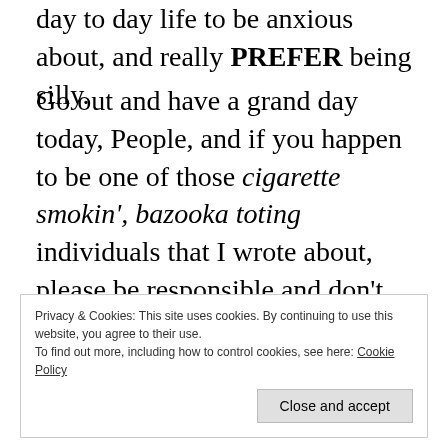day to day life to be anxious about, and really PREFER being silly.
Go out and have a grand day today, People, and if you happen to be one of those cigarette smokin', bazooka toting individuals that I wrote about, please be responsible and don't be throwing your butts anywhere near your bazookas!
Privacy & Cookies: This site uses cookies. By continuing to use this website, you agree to their use.
To find out more, including how to control cookies, see here: Cookie Policy